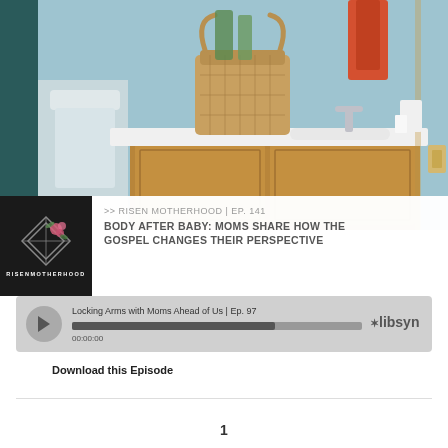[Figure (photo): Bathroom vanity with wooden cabinet, white countertop, wicker basket, faucet, and light blue walls]
[Figure (logo): Risen Motherhood podcast logo — black square with geometric diamond shape and floral accent, text RISENMOTHERHOOD]
>> RISEN MOTHERHOOD | EP. 141
BODY AFTER BABY: MOMS SHARE HOW THE GOSPEL CHANGES THEIR PERSPECTIVE
[Figure (screenshot): Libsyn audio player showing: Locking Arms with Moms Ahead of Us | Ep. 97, progress bar, 00:00:00 timestamp, Libsyn logo]
Download this Episode
1